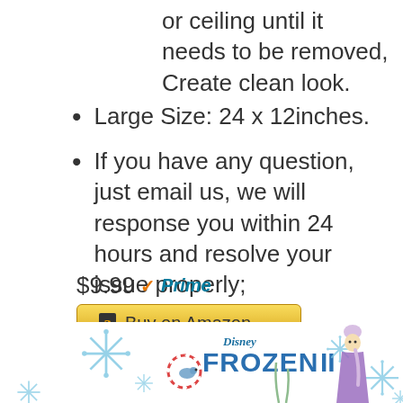or ceiling until it needs to be removed, Create clean look.
Large Size: 24 x 12inches.
If you have any question, just email us, we will response you within 24 hours and resolve your issue properly;
$9.99 ✓Prime
[Figure (other): Buy on Amazon button with Amazon logo]
[Figure (illustration): Disney Frozen II product image with snowflakes, Elsa character, and small animal character]